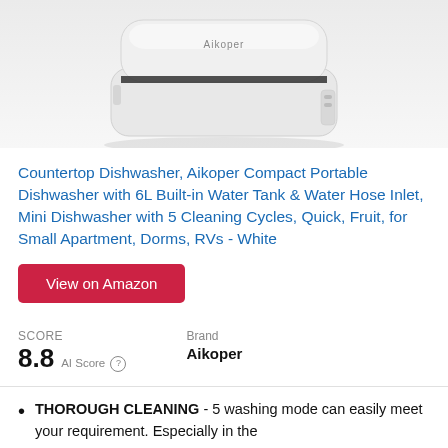[Figure (photo): White countertop dishwasher with Aikoper branding, viewed from above-front angle, on white/grey background]
Countertop Dishwasher, Aikoper Compact Portable Dishwasher with 6L Built-in Water Tank & Water Hose Inlet, Mini Dishwasher with 5 Cleaning Cycles, Quick, Fruit, for Small Apartment, Dorms, RVs - White
View on Amazon
SCORE
8.8  AI Score ®
Brand
Aikoper
THOROUGH CLEANING - 5 washing mode can easily meet your requirement. Especially in the